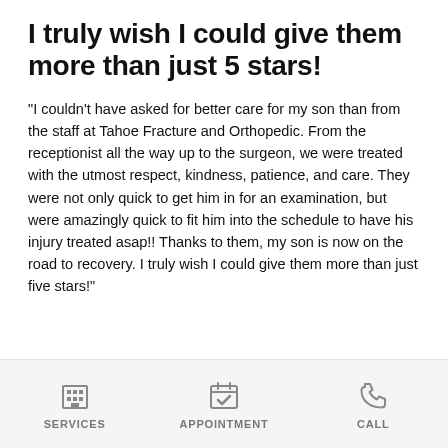I truly wish I could give them more than just 5 stars!
"I couldn't have asked for better care for my son than from the staff at Tahoe Fracture and Orthopedic. From the receptionist all the way up to the surgeon, we were treated with the utmost respect, kindness, patience, and care. They were not only quick to get him in for an examination, but were amazingly quick to fit him into the schedule to have his injury treated asap!! Thanks to them, my son is now on the road to recovery. I truly wish I could give them more than just five stars!"
SERVICES | APPOINTMENT | CALL